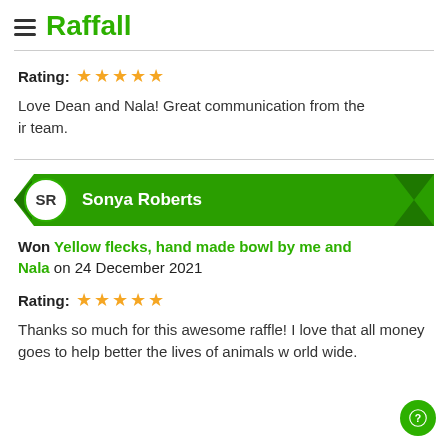Raffall
Rating: ★★★★★
Love Dean and Nala! Great communication from their team.
SR Sonya Roberts
Won Yellow flecks, hand made bowl by me and Nala on 24 December 2021
Rating: ★★★★★
Thanks so much for this awesome raffle! I love that all money goes to help better the lives of animals world wide.